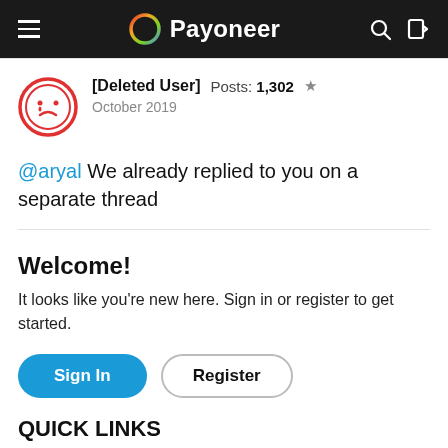Payoneer
[Deleted User]  Posts: 1,302  ★  October 2019
@aryal We already replied to you on a separate thread
Welcome!
It looks like you're new here. Sign in or register to get started.
Sign In  Register
QUICK LINKS